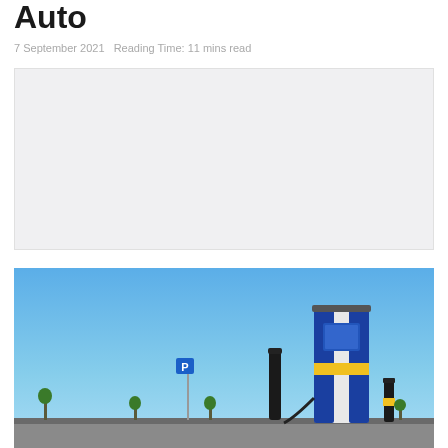Auto
7 September 2021   Reading Time: 11 mins read
[Figure (other): Gray placeholder advertisement block]
[Figure (photo): Outdoor EV / hydrogen charging station with a tall blue and yellow charging unit, black bollards, small trees, and a blue sky background]